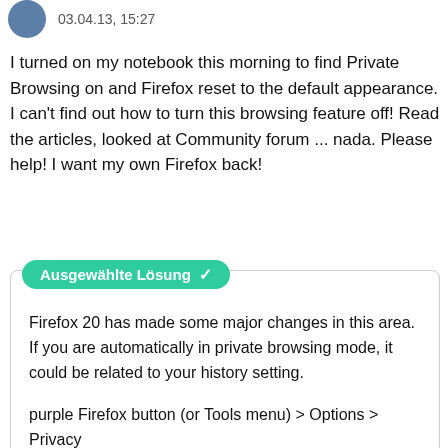[Figure (illustration): User avatar icon - blue circular avatar]
03.04.13, 15:27
I turned on my notebook this morning to find Private Browsing on and Firefox reset to the default appearance. I can't find out how to turn this browsing feature off! Read the articles, looked at Community forum ... nada. Please help! I want my own Firefox back!
Ausgewählte Lösung ✓
Firefox 20 has made some major changes in this area. If you are automatically in private browsing mode, it could be related to your history setting.

purple Firefox button (or Tools menu) > Options > Privacy

If you have Firefox will "Never remember history" that could cause this problem. Change to "Use custom